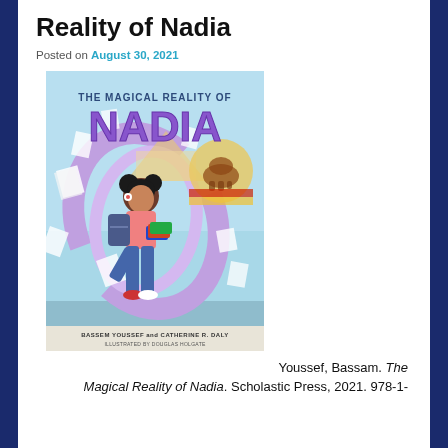Reality of Nadia
Posted on August 30, 2021
[Figure (illustration): Book cover of 'The Magical Reality of Nadia' by Bassem Youssef and Catherine R. Daly, illustrated by Douglas Holgate. Shows a girl with books running, surrounded by swirling papers and Egyptian/California imagery. Light blue background with purple title text.]
Youssef, Bassam. The Magical Reality of Nadia. Scholastic Press, 2021. 978-1-